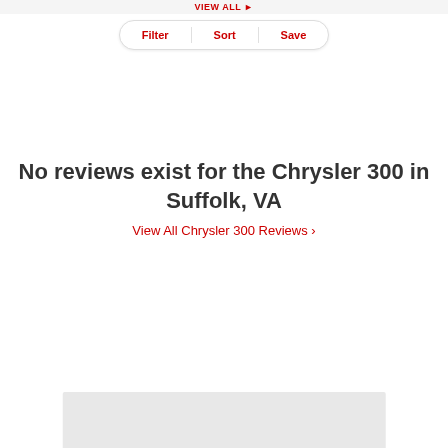VIEW ALL ▶
Filter | Sort | Save
No reviews exist for the Chrysler 300 in Suffolk, VA
View All Chrysler 300 Reviews ›